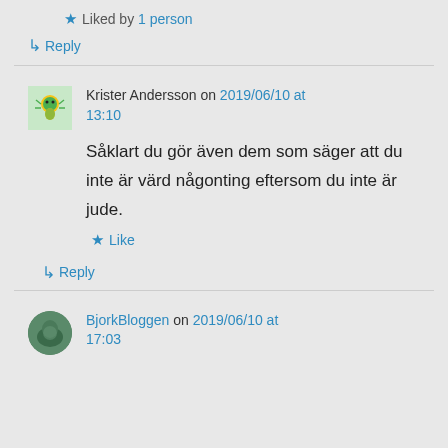★ Liked by 1 person
↳ Reply
Krister Andersson on 2019/06/10 at 13:10
Såklart du gör även dem som säger att du inte är värd någonting eftersom du inte är jude.
★ Like
↳ Reply
BjorkBloggen on 2019/06/10 at 17:03